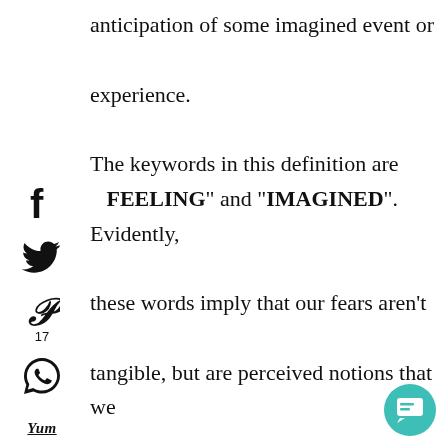anticipation of some imagined event or experience. The keywords in this definition are FEELING" and "IMAGINED". Evidently, these words imply that our fears aren't tangible, but are perceived notions that we have conjured up in our minds. Last I checked, we possess the power to control our thoughts and later our actions. What if we replaced these feelings and imagined experiences with positive thoughts and
[Figure (infographic): Social media share buttons sidebar: Facebook (f), Twitter (bird), Pinterest (P) with count 17, WhatsApp, Yummly (Yum), Crown/Weheartit icon]
[Figure (infographic): Teal circular chat/message button in bottom right corner]